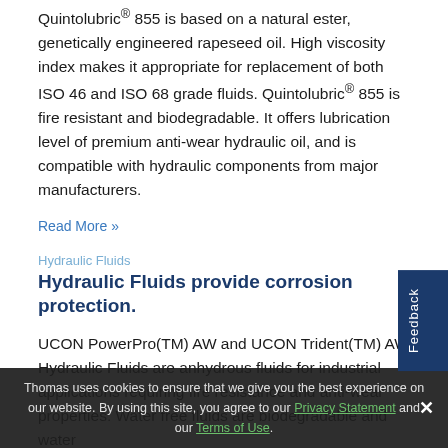Quintolubric® 855 is based on a natural ester, genetically engineered rapeseed oil. High viscosity index makes it appropriate for replacement of both ISO 46 and ISO 68 grade fluids. Quintolubric® 855 is fire resistant and biodegradable. It offers lubrication level of premium anti-wear hydraulic oil, and is compatible with hydraulic components from major manufacturers.
Read More »
Hydraulic Fluids
Hydraulic Fluids provide corrosion protection.
UCON PowerPro(TM) AW and UCON Trident(TM) AW Hydraulic Fluids are anhydrous fluids for industrial applications requiring fire resistance and anti-wear properties. Water free fluids are biodegradable and water
Thomas uses cookies to ensure that we give you the best experience on our website. By using this site, you agree to our Privacy Statement and our Terms of Use.